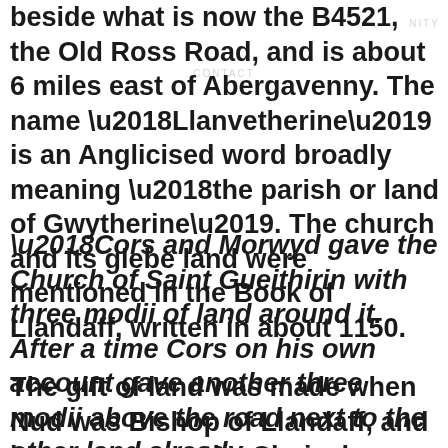beside what is now the B4521, the Old Ross Road, and is about 6 miles east of Abergavenny. The name ‘Llanvetherine’ is an Anglicised word broadly meaning ‘the parish or land of Gwytherine’. The church and its glebe land were mentioned in the Book of Llandaff, written in about 1150.
‘Cors and Morwyd gave the Church of Saint Gueithirin with three modii of land around it. After a time Cors on his own account gave another three modii above the road next to the other land already mentioned.’ [Three modii is about 27 acres.]
The gift of land was made when Nud was Bishop of Llandaff, and he was among the Clerical Witnesses of the Gift. Bishop Nud